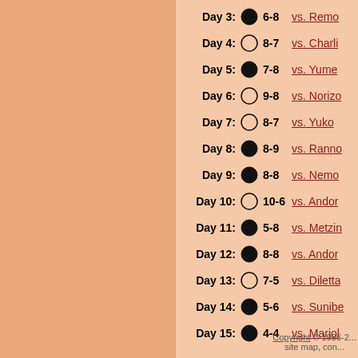Day 3: ● 6-8 vs. Remo
Day 4: ○ 8-7 vs. Charli
Day 5: ● 7-8 vs. Yume
Day 6: ○ 9-8 vs. Norizo
Day 7: ○ 8-7 vs. Yuko
Day 8: ● 8-9 vs. Ranno
Day 9: ● 8-8 vs. Nemo
Day 10: ○ 10-6 vs. Andor
Day 11: ● 5-8 vs. Metzin
Day 12: ● 8-8 vs. Andor
Day 13: ○ 7-5 vs. Diletta
Day 14: ● 5-6 vs. Sunibe
Day 15: ● 4-4 vs. Mariol
Copyright © 1996-2... site map, con...